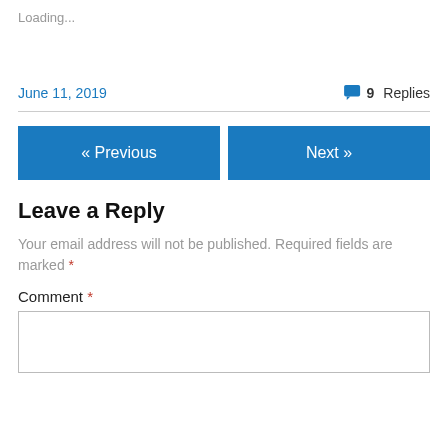Loading...
June 11, 2019
9 Replies
« Previous
Next »
Leave a Reply
Your email address will not be published. Required fields are marked *
Comment *